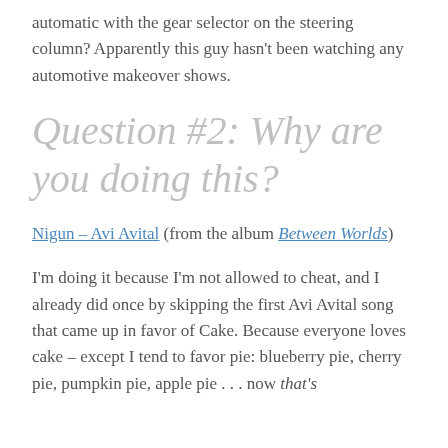automatic with the gear selector on the steering column? Apparently this guy hasn't been watching any automotive makeover shows.
Question #2: Why are you doing this?
Nigun – Avi Avital (from the album Between Worlds)
I'm doing it because I'm not allowed to cheat, and I already did once by skipping the first Avi Avital song that came up in favor of Cake. Because everyone loves cake – except I tend to favor pie: blueberry pie, cherry pie, pumpkin pie, apple pie . . . now that's